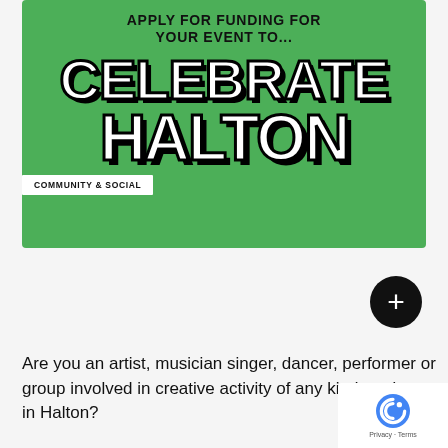[Figure (infographic): Green banner advertisement for 'Celebrate Halton' community grant program. Top text reads 'APPLY FOR FUNDING FOR YOUR EVENT TO...' followed by large stylized text 'CELEBRATE HALTON' with black shadow effect on green background. White tag in lower left reads 'COMMUNITY & SOCIAL'.]
[Figure (other): Black circular plus (+) button]
Are you an artist, musician singer, dancer, performer or group involved in creative activity of any kind, and res... in Halton?